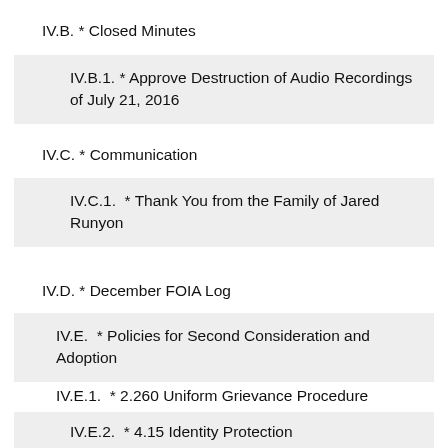IV.B. * Closed Minutes
IV.B.1. * Approve Destruction of Audio Recordings of July 21, 2016
IV.C. * Communication
IV.C.1.  * Thank You from the Family of Jared Runyon
IV.D. * December FOIA Log
IV.E.  * Policies for Second Consideration and Adoption
IV.E.1.  * 2.260 Uniform Grievance Procedure
IV.E.2.  * 4.15 Identity Protection